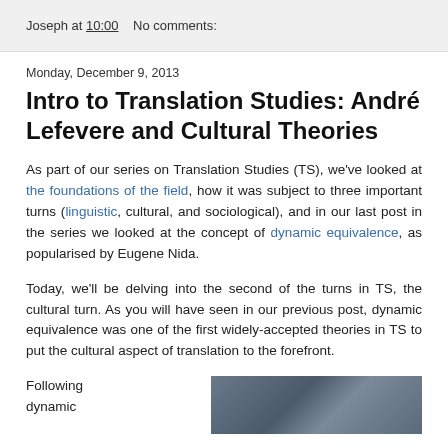Joseph at 10:00    No comments:
Monday, December 9, 2013
Intro to Translation Studies: André Lefevere and Cultural Theories
As part of our series on Translation Studies (TS), we've looked at the foundations of the field, how it was subject to three important turns (linguistic, cultural, and sociological), and in our last post in the series we looked at the concept of dynamic equivalence, as popularised by Eugene Nida.
Today, we'll be delving into the second of the turns in TS, the cultural turn. As you will have seen in our previous post, dynamic equivalence was one of the first widely-accepted theories in TS to put the cultural aspect of translation to the forefront.
Following dynamic
[Figure (photo): A landscape or outdoor photo, partially visible in the bottom-right corner of the page]